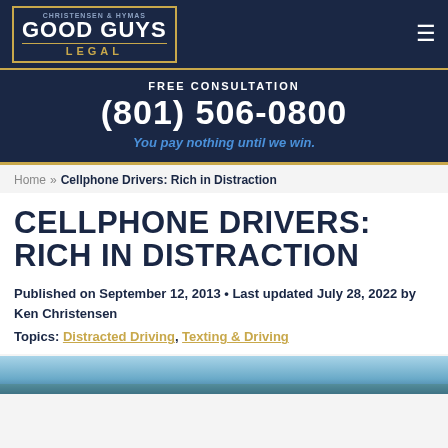Good Guys Legal — Christensen & Hymas
FREE CONSULTATION
(801) 506-0800
You pay nothing until we win.
Home » Cellphone Drivers: Rich in Distraction
CELLPHONE DRIVERS: RICH IN DISTRACTION
Published on September 12, 2013 • Last updated July 28, 2022 by Ken Christensen
Topics: Distracted Driving, Texting & Driving
[Figure (photo): Partial view of a road/highway photo at the bottom of the page]